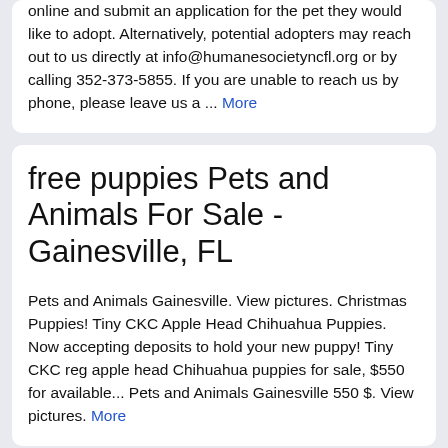online and submit an application for the pet they would like to adopt. Alternatively, potential adopters may reach out to us directly at info@humanesocietyncfl.org or by calling 352-373-5855. If you are unable to reach us by phone, please leave us a ... More
free puppies Pets and Animals For Sale - Gainesville, FL
Pets and Animals Gainesville. View pictures. Christmas Puppies! Tiny CKC Apple Head Chihuahua Puppies. Now accepting deposits to hold your new puppy! Tiny CKC reg apple head Chihuahua puppies for sale, $550 for available... Pets and Animals Gainesville 550 $. View pictures. More